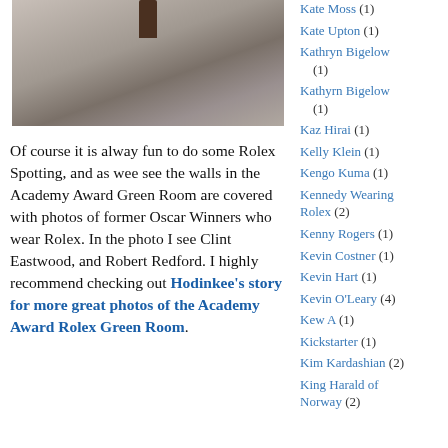[Figure (photo): Photo of a room floor with marble/stone-like tiles and a dark wooden chair leg visible at the top center, likely the Academy Award Green Room.]
Of course it is alway fun to do some Rolex Spotting, and as wee see the walls in the Academy Award Green Room are covered with photos of former Oscar Winners who wear Rolex. In the photo I see Clint Eastwood, and Robert Redford. I highly recommend checking out Hodinkee's story for more great photos of the Academy Award Rolex Green Room.
Kate Moss (1)
Kate Upton (1)
Kathryn Bigelow (1)
Kathyrn Bigelow (1)
Kaz Hirai (1)
Kelly Klein (1)
Kengo Kuma (1)
Kennedy Wearing Rolex (2)
Kenny Rogers (1)
Kevin Costner (1)
Kevin Hart (1)
Kevin O'Leary (4)
Kew A (1)
Kickstarter (1)
Kim Kardashian (2)
King Harald of Norway (2)